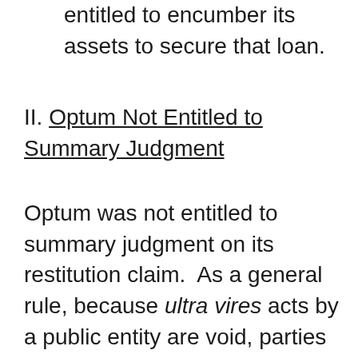entitled to encumber its assets to secure that loan.
II. Optum Not Entitled to Summary Judgment
Optum was not entitled to summary judgment on its restitution claim.  As a general rule, because ultra vires acts by a public entity are void, parties that enter into the ultra vires contract with a public entity are without remedy.  They cannot sue a public entity in quasi-contract because restitution considerations are outweighed by the need to protect and